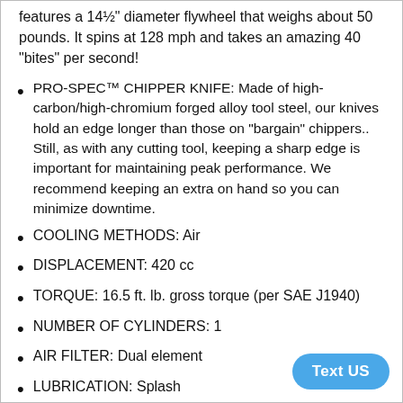features a 14½" diameter flywheel that weighs about 50 pounds. It spins at 128 mph and takes an amazing 40 "bites" per second!
PRO-SPEC™ CHIPPER KNIFE: Made of high-carbon/high-chromium forged alloy tool steel, our knives hold an edge longer than those on "bargain" chippers.. Still, as with any cutting tool, keeping a sharp edge is important for maintaining peak performance. We recommend keeping an extra on hand so you can minimize downtime.
COOLING METHODS: Air
DISPLACEMENT: 420 cc
TORQUE: 16.5 ft. lb. gross torque (per SAE J1940)
NUMBER OF CYLINDERS: 1
AIR FILTER: Dual element
LUBRICATION: Splash
OIL CAPACITY: 37 oz.
OIL TYPE: SAE 30W HD